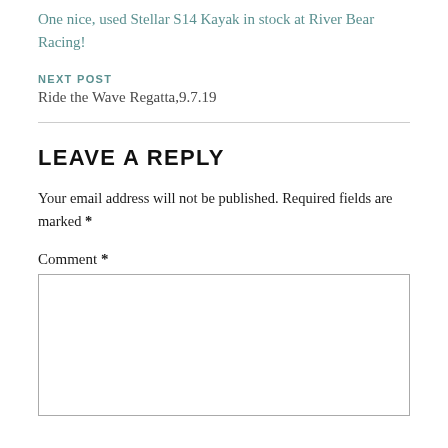One nice, used Stellar S14 Kayak in stock at River Bear Racing!
NEXT POST
Ride the Wave Regatta,9.7.19
LEAVE A REPLY
Your email address will not be published. Required fields are marked *
Comment *